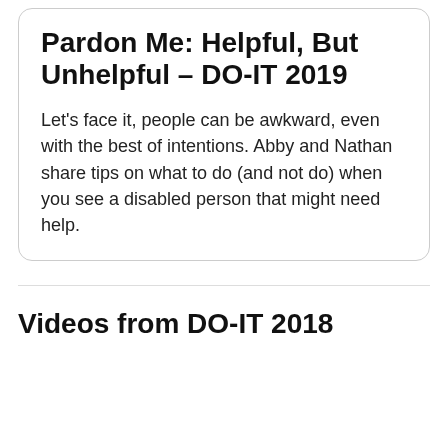Pardon Me: Helpful, But Unhelpful – DO-IT 2019
Let's face it, people can be awkward, even with the best of intentions. Abby and Nathan share tips on what to do (and not do) when you see a disabled person that might need help.
Videos from DO-IT 2018